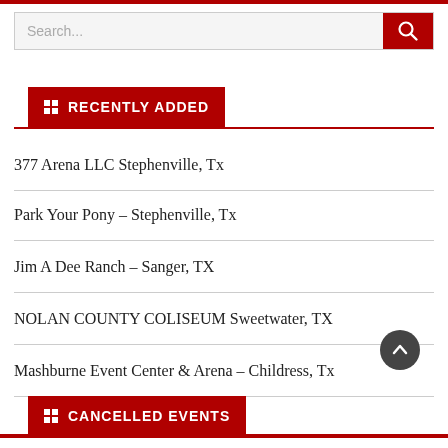Search...
RECENTLY ADDED
377 Arena LLC Stephenville, Tx
Park Your Pony – Stephenville, Tx
Jim A Dee Ranch – Sanger, TX
NOLAN COUNTY COLISEUM Sweetwater, TX
Mashburne Event Center & Arena – Childress, Tx
CANCELLED EVENTS